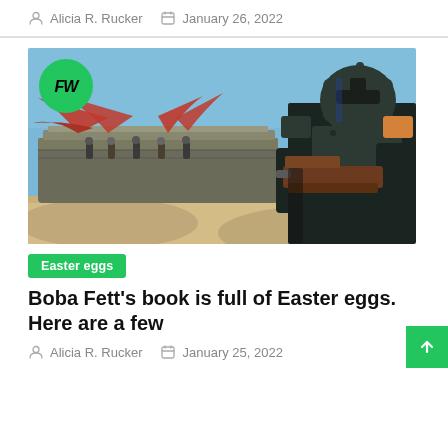Alicia R. Rucker  January 26, 2022
[Figure (photo): Star Wars scene showing Mando/bounty hunter in dark armor holding a large weapon in the foreground, with a desert landscape, large barge-like ship with red wing structures, and several figures standing on it in the background. A circular green FW logo is visible in the top-left corner of the image.]
Easter eggs
Boba Fett's book is full of Easter eggs. Here are a few
Alicia R. Rucker  January 25, 2022